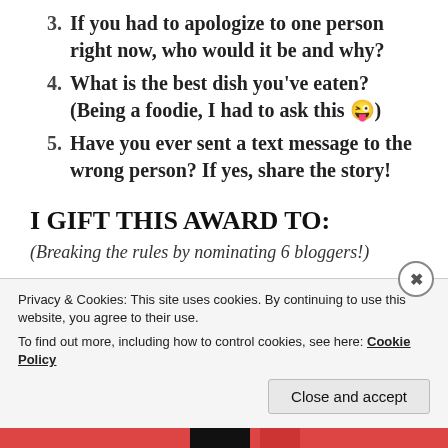3. If you had to apologize to one person right now, who would it be and why?
4. What is the best dish you've eaten? (Being a foodie, I had to ask this 😜)
5. Have you ever sent a text message to the wrong person? If yes, share the story!
I GIFT THIS AWARD TO:
(Breaking the rules by nominating 6 bloggers!)
https://ravisingh.blog/
Privacy & Cookies: This site uses cookies. By continuing to use this website, you agree to their use. To find out more, including how to control cookies, see here: Cookie Policy
Close and accept